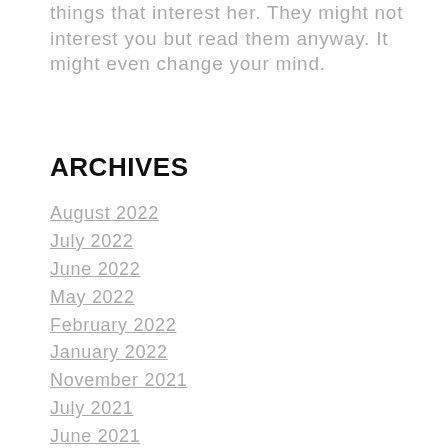things that interest her. They might not interest you but read them anyway. It might even change your mind.
ARCHIVES
August 2022
July 2022
June 2022
May 2022
February 2022
January 2022
November 2021
July 2021
June 2021
April 2021
February 2021
January 2021